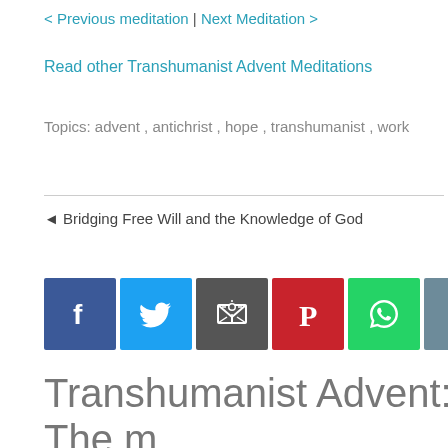< Previous meditation | Next Meditation >
Read other Transhumanist Advent Meditations
Topics: advent , antichrist , hope , transhumanist , work
◄ Bridging Free Will and the Knowledge of God
[Figure (other): Social sharing buttons: Facebook (blue), Twitter (light blue), Email (dark grey), Pinterest (red), WhatsApp (green), Print (grey-blue), More (orange-red)]
Transhumanist Advent: The m been mute spoke